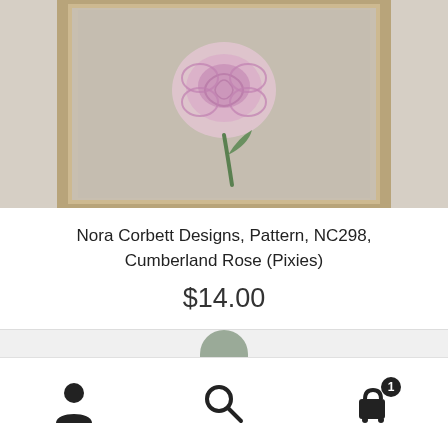[Figure (photo): Embroidered needlework of a pink rose with green stem on linen fabric inside a decorative frame]
Nora Corbett Designs, Pattern, NC298, Cumberland Rose (Pixies)
$14.00
Add to cart
Add to Wishlist
Navigation bar with user account, search, and cart (1 item) icons